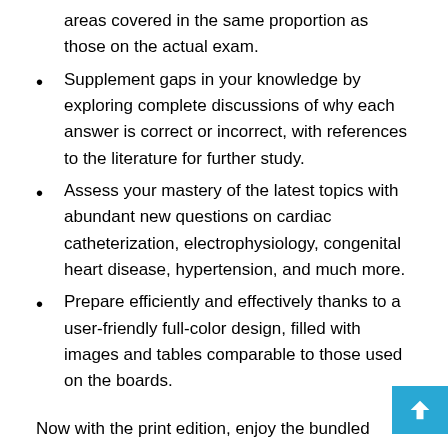areas covered in the same proportion as those on the actual exam.
Supplement gaps in your knowledge by exploring complete discussions of why each answer is correct or incorrect, with references to the literature for further study.
Assess your mastery of the latest topics with abundant new questions on cardiac catheterization, electrophysiology, congenital heart disease, hypertension, and much more.
Prepare efficiently and effectively thanks to a user-friendly full-color design, filled with images and tables comparable to those used on the boards.
Now with the print edition, enjoy the bundled interactive eBook edition, offering tablet, smartphone, or online access to:
Complete content with enhanced navigation
A powerful search that pulls results from content in the